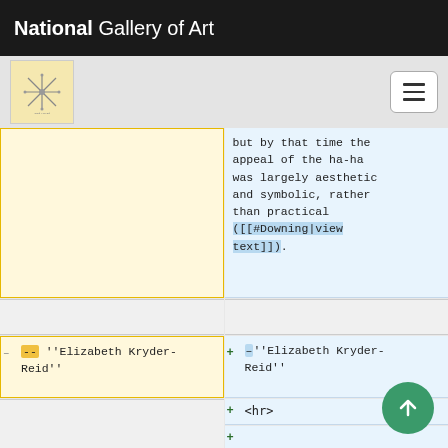National Gallery of Art
[Figure (screenshot): A diff/comparison view of wiki markup text showing two columns. Left column has yellow background (old content), right column has blue background (new content). Content includes text about ha-ha being largely aesthetic and symbolic, attribution to Elizabeth Kryder-Reid, and wiki markup for hr and Texts section.]
but by that time the appeal of the ha-ha was largely aesthetic and symbolic, rather than practical ([[#Downing|view text]]).
-- ''Elizabeth Kryder-Reid''
–''Elizabeth Kryder-Reid''
<hr>
==Texts==